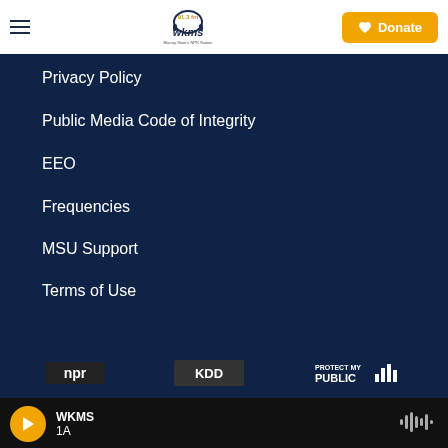WKMS 91.3 fm — Murray State's NPR Station | Donate
Privacy Policy
Public Media Code of Integrity
EEO
Frequencies
MSU Support
Terms of Use
[Figure (logo): NPR logo]
[Figure (logo): KDD logo]
[Figure (logo): Protect My Public logo]
WKMS 1A